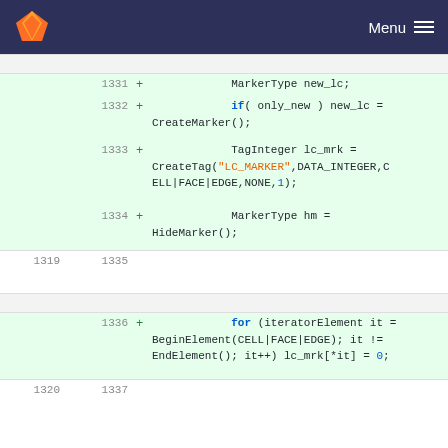Menu
Code diff view showing lines 1319-1337 with added lines (+) for C++ code
[Figure (screenshot): GitLab diff view of C++ source code showing added lines 1331-1336 with MarkerType, TagInteger, CreateTag, HideMarker, and for loop code]